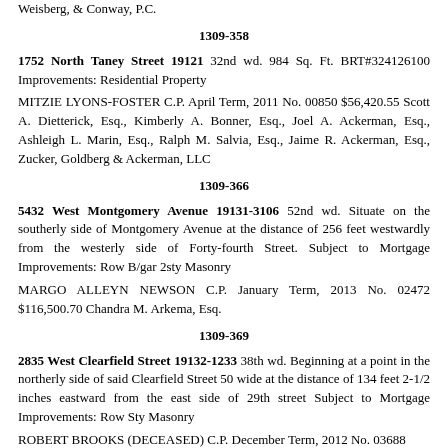Weisberg, & Conway, P.C.
1309-358
1752 North Taney Street 19121 32nd wd. 984 Sq. Ft. BRT#324126100 Improvements: Residential Property
MITZIE LYONS-FOSTER C.P. April Term, 2011 No. 00850 $56,420.55 Scott A. Dietterick, Esq., Kimberly A. Bonner, Esq., Joel A. Ackerman, Esq., Ashleigh L. Marin, Esq., Ralph M. Salvia, Esq., Jaime R. Ackerman, Esq., Zucker, Goldberg & Ackerman, LLC
1309-366
5432 West Montgomery Avenue 19131-3106 52nd wd. Situate on the southerly side of Montgomery Avenue at the distance of 256 feet westwardly from the westerly side of Forty-fourth Street. Subject to Mortgage Improvements: Row B/gar 2sty Masonry
MARGO ALLEYN NEWSON C.P. January Term, 2013 No. 02472 $116,500.70 Chandra M. Arkema, Esq.
1309-369
2835 West Clearfield Street 19132-1233 38th wd. Beginning at a point in the northerly side of said Clearfield Street 50 wide at the distance of 134 feet 2-1/2 inches eastward from the east side of 29th street Subject to Mortgage Improvements: Row Sty Masonry
ROBERT BROOKS (DECEASED) C.P. December Term, 2012 No. 03688